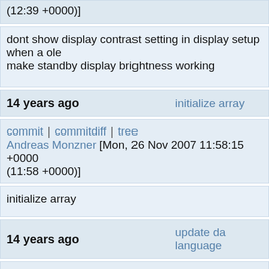(12:39 +0000)]
dont show display contrast setting in display setup when a ole
make standby display brightness working
14 years ago   initialize array
commit | commitdiff | tree
Andreas Monzner [Mon, 26 Nov 2007 11:58:15 +0000 (11:58 +0000)]
initialize array
14 years ago   update da language
commit | commitdiff | tree
Felix Domke [Sun, 25 Nov 2007 12:49:20 +0000 (12:49 +0000)]